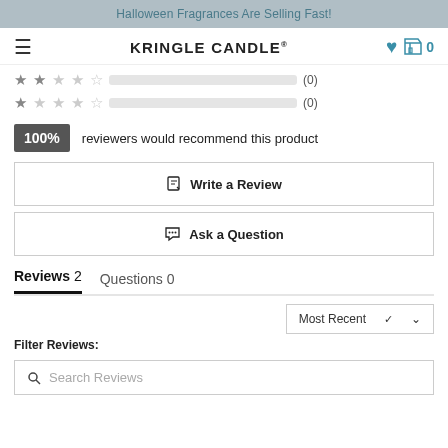Halloween Fragrances Are Selling Fast!
[Figure (screenshot): Kringle Candle website navigation bar with hamburger menu, brand name, heart icon, and cart icon showing 0]
[Figure (infographic): Star rating rows: 2-star row with empty bar (0), 1-star row with empty bar (0)]
100% reviewers would recommend this product
✎ Write a Review
💬 Ask a Question
Reviews 2  Questions 0
Most Recent ∨
Filter Reviews:
🔍 Search Reviews